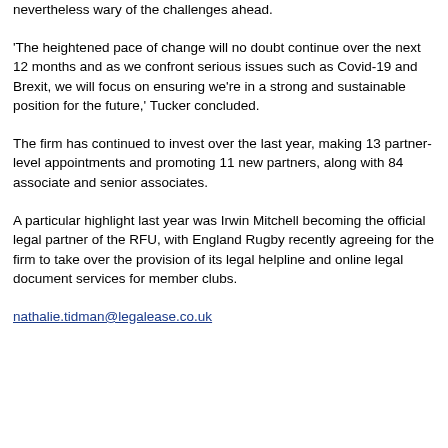nevertheless wary of the challenges ahead.
'The heightened pace of change will no doubt continue over the next 12 months and as we confront serious issues such as Covid-19 and Brexit, we will focus on ensuring we're in a strong and sustainable position for the future,' Tucker concluded.
The firm has continued to invest over the last year, making 13 partner-level appointments and promoting 11 new partners, along with 84 associate and senior associates.
A particular highlight last year was Irwin Mitchell becoming the official legal partner of the RFU, with England Rugby recently agreeing for the firm to take over the provision of its legal helpline and online legal document services for member clubs.
nathalie.tidman@legalease.co.uk